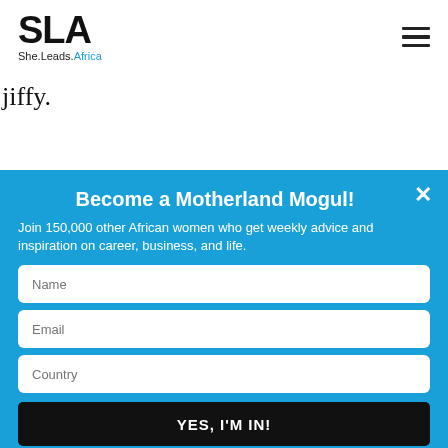SLA She.Leads.Africa
jiffy.
Become a Motherland Mogul!
Join 150,000 other African women who get weekly advice and inspiration on career, business, and life.
Name
Email
Country
YES, I'M IN!